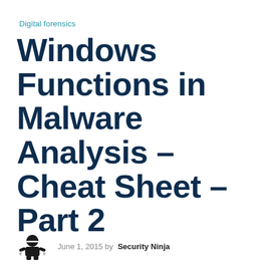Digital forensics
Windows Functions in Malware Analysis – Cheat Sheet – Part 2
June 1, 2015 by Security Ninja